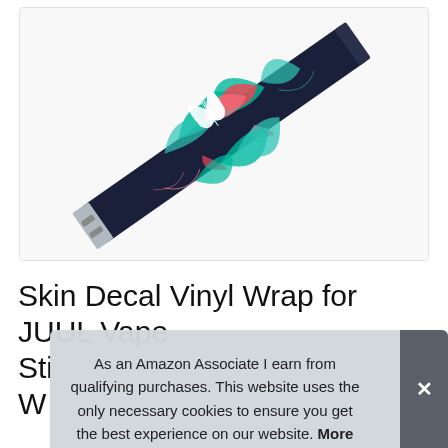[Figure (photo): A vape pen/stick device with a dark navy blue skin featuring a colorful cannabis leaf pattern in teal, red, white, and pink, photographed diagonally on a white background.]
Skin Decal Vinyl Wrap for JUUL Vape Sti... W...
As an Amazon Associate I earn from qualifying purchases. This website uses the only necessary cookies to ensure you get the best experience on our website. More information